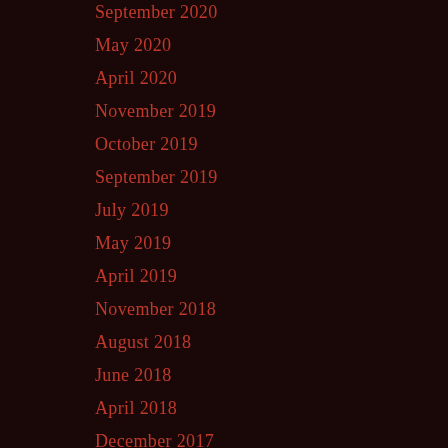September 2020
May 2020
April 2020
November 2019
October 2019
September 2019
July 2019
May 2019
April 2019
November 2018
August 2018
June 2018
April 2018
December 2017
August 2017